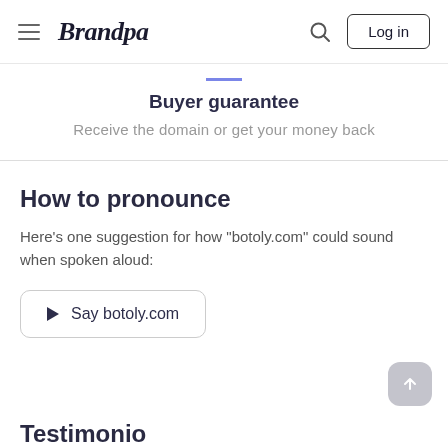Brandpa — Log in
Buyer guarantee
Receive the domain or get your money back
How to pronounce
Here's one suggestion for how "botoly.com" could sound when spoken aloud:
Say botoly.com
Testimonials